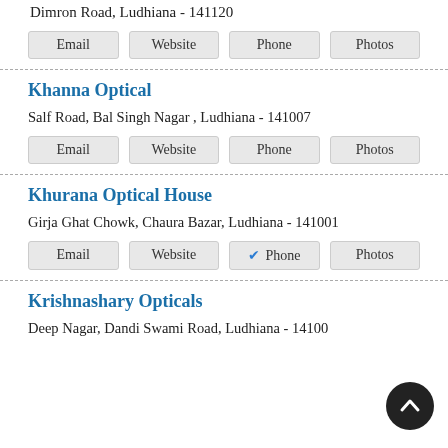Dimron Road, Ludhiana - 141120
Email | Website | Phone | Photos
Khanna Optical
Salf Road, Bal Singh Nagar , Ludhiana - 141007
Email | Website | Phone | Photos
Khurana Optical House
Girja Ghat Chowk, Chaura Bazar, Ludhiana - 141001
Email | Website | ✓ Phone | Photos
Krishnashary Opticals
Deep Nagar, Dandi Swami Road, Ludhiana - 14100